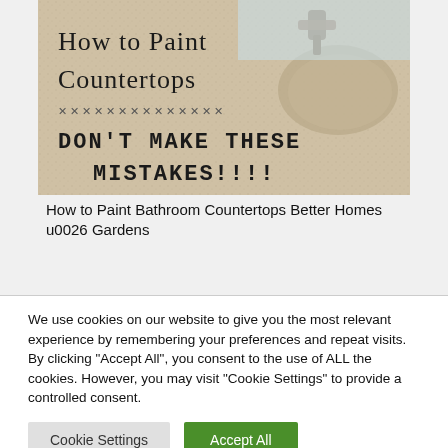[Figure (photo): Photo of a beige speckled bathroom countertop with a bronze/gold faucet and sink. Overlaid text reads 'How to Paint Countertops' and 'DON'T MAKE THESE MISTAKES!!!!' with a decorative stitched border line between them.]
How to Paint Bathroom Countertops Better Homes u0026 Gardens
We use cookies on our website to give you the most relevant experience by remembering your preferences and repeat visits. By clicking "Accept All", you consent to the use of ALL the cookies. However, you may visit "Cookie Settings" to provide a controlled consent.